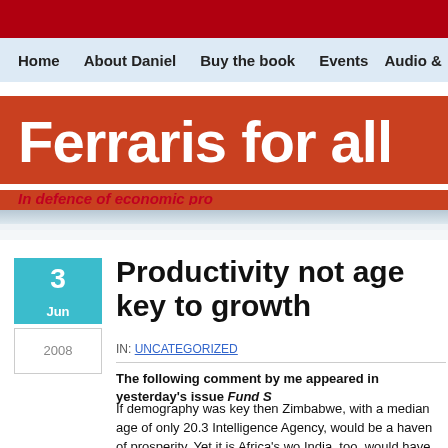Home | About Daniel | Buy the book | Events | Audio &
[Figure (logo): Ferraris for all - In defence of economic pro[gress] logo banner, orange/red background with white text]
Productivity not age key to growth
IN: UNCATEGORIZED
The following comment by me appeared in yesterday's issue Fund S[trategy]
If demography was key then Zimbabwe, with a median age of only 20.3 [years according to the Central] Intelligence Agency, would be a haven of prosperity. Yet it is Africa's wo[rst economy.] India, too, would have been more dynamic in the past yet it has gone thr[ough remarkable] growth.